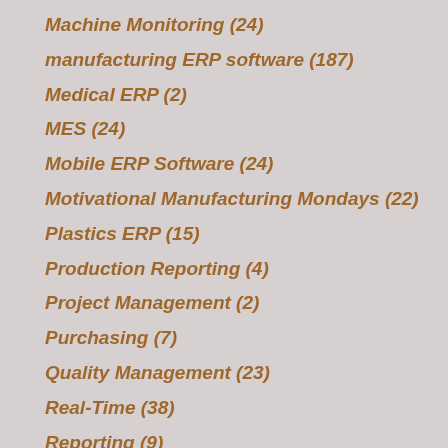Machine Monitoring (24)
manufacturing ERP software (187)
Medical ERP (2)
MES (24)
Mobile ERP Software (24)
Motivational Manufacturing Mondays (22)
Plastics ERP (15)
Production Reporting (4)
Project Management (2)
Purchasing (7)
Quality Management (23)
Real-Time (38)
Reporting (9)